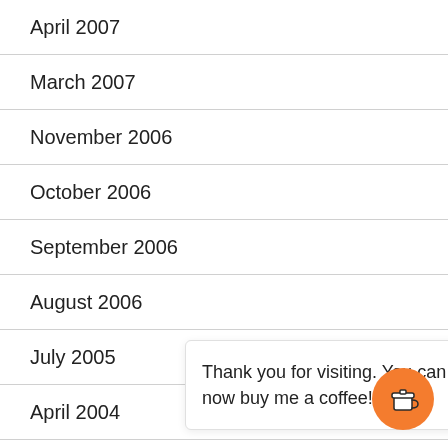April 2007
March 2007
November 2006
October 2006
September 2006
August 2006
July 2005
April 2004
August 2...
January 2...
April 200...
Thank you for visiting. You can now buy me a coffee!